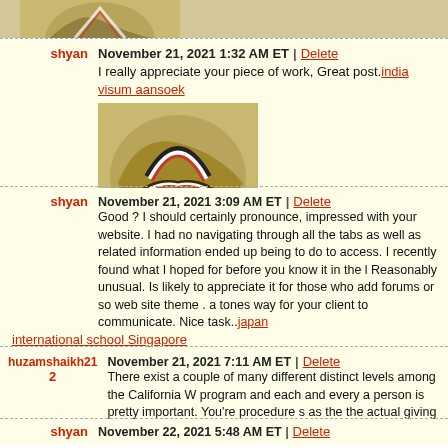[Figure (illustration): Duck logo avatar image at top]
shyan | November 21, 2021 1:32 AM ET | Delete
I really appreciate your piece of work, Great post. india visum aansoek
shyan | November 21, 2021 3:09 AM ET | Delete
Good ? I should certainly pronounce, impressed with your website. I had no navigating through all the tabs as well as related information ended up being to do to access. I recently found what I hoped for before you know it in the l Reasonably unusual. Is likely to appreciate it for those who add forums or so web site theme . a tones way for your client to communicate. Nice task.. japan international school Singapore
huzamshaikh21 | November 21, 2021 7:11 AM ET | Delete
There exist a couple of many different distinct levels among the California W program and each and every a person is pretty important. You're procedure s as the the actual giving up with all the power. weight loss Tactical Gear
shyan | November 22, 2021 5:48 AM ET | Delete